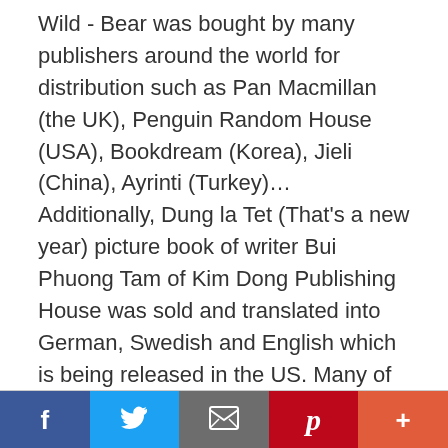Wild - Bear was bought by many publishers around the world for distribution such as Pan Macmillan (the UK), Penguin Random House (USA), Bookdream (Korea), Jieli (China), Ayrinti (Turkey)… Additionally, Dung la Tet (That's a new year) picture book of writer Bui Phuong Tam of Kim Dong Publishing House was sold and translated into German, Swedish and English which is being released in the US. Many of Lionbooks' picture books such as Don Tet ve nha ( Going home for Tet) and Dung dinh trang di ban (Going home for the full moon) have been copyrighted … [Read more...]
[Figure (infographic): Social media sharing bar with Facebook (blue), Twitter (light blue), Email (grey), Pinterest (red), and More (orange-red) buttons]